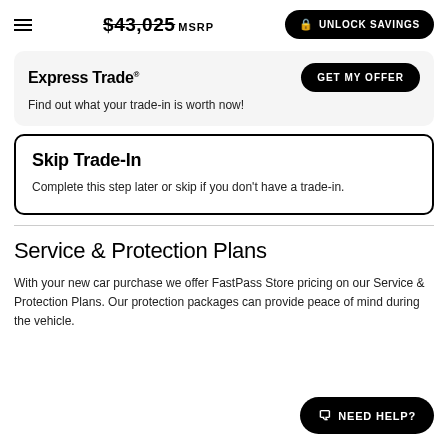$43,025 MSRP | UNLOCK SAVINGS
Express Trade®
Find out what your trade-in is worth now!
Skip Trade-In
Complete this step later or skip if you don't have a trade-in.
Service & Protection Plans
With your new car purchase we offer FastPass Store pricing on our Service & Protection Plans. Our protection packages can provide peace of mind during the vehicle.